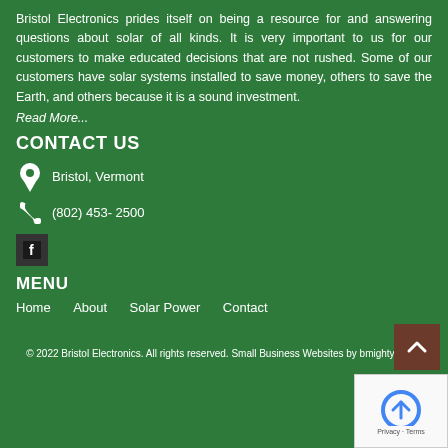Bristol Electronics prides itself on being a resource for and answering questions about solar of all kinds. It is very important to us for our customers to make educated decisions that are not rushed. Some of our customers have solar systems installed to save money, others to save the Earth, and others because it is a sound investment.
Read More...
CONTACT US
Bristol, Vermont
(802) 453- 2500
[Figure (logo): Facebook icon - black square with white f letter]
MENU
Home
About
Solar Power
Contact
© 2022 Bristol Electronics. All rights reserved. Small Business Websites by bmighty2.com